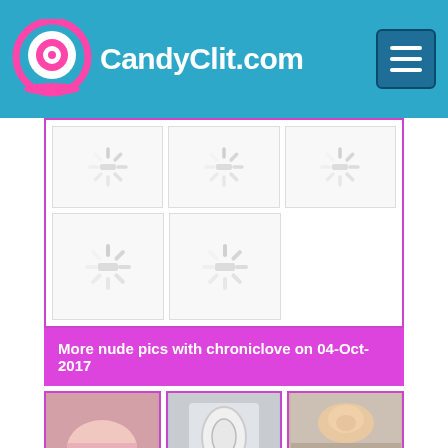CandyClit.com
[Figure (screenshot): Grid of 5 image placeholders with loading spinners (gray spinning wheel icons) on white background with magenta border]
More nude pics with chroniclove on 04-Oct-2017
[Figure (photo): Three thumbnail photos: first shows a person in pink underwear from behind, second shows a bathroom mirror selfie, third shows a person lying down looking at camera]